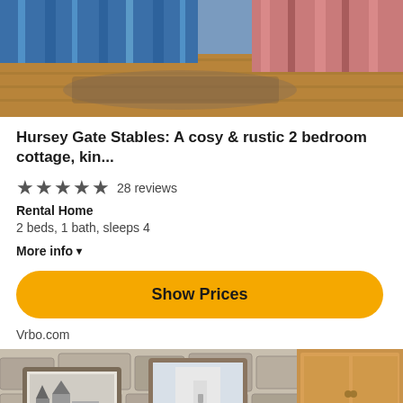[Figure (photo): Top portion of a bedroom photo showing striped blue and red bedding on wooden floors]
Hursey Gate Stables: A cosy & rustic 2 bedroom cottage, kin...
★★★★★ 28 reviews
Rental Home
2 beds, 1 bath, sleeps 4
More info ▾
Show Prices
Vrbo.com
[Figure (photo): Rustic cottage bedroom with stone walls, wooden furniture, framed artwork, mirror, and blue/grey pillows on bed with lamps]